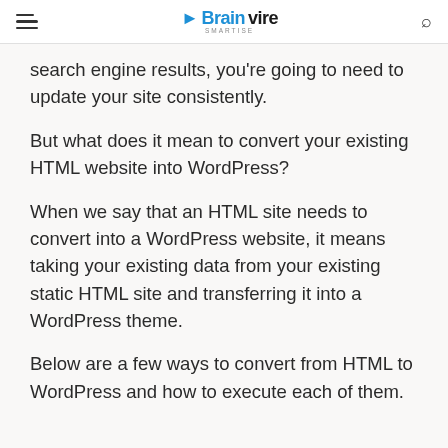Brainvire
search engine results, you're going to need to update your site consistently.
But what does it mean to convert your existing HTML website into WordPress?
When we say that an HTML site needs to convert into a WordPress website, it means taking your existing data from your existing static HTML site and transferring it into a WordPress theme.
Below are a few ways to convert from HTML to WordPress and how to execute each of them.